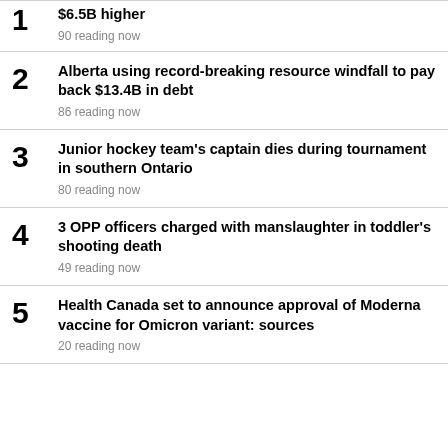1 [partial] $6.5B higher — 90 reading now
2 Alberta using record-breaking resource windfall to pay back $13.4B in debt — 86 reading now
3 Junior hockey team's captain dies during tournament in southern Ontario — 80 reading now
4 3 OPP officers charged with manslaughter in toddler's shooting death — 49 reading now
5 Health Canada set to announce approval of Moderna vaccine for Omicron variant: sources — 20 reading now